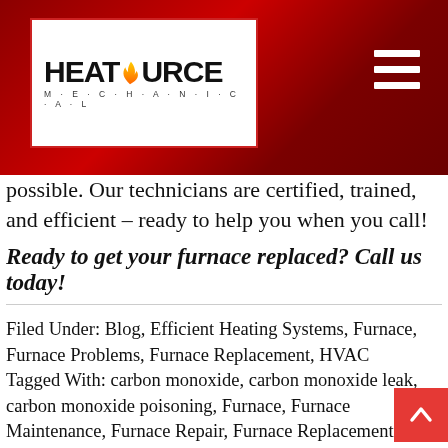HeatSource Mechanical
possible. Our technicians are certified, trained, and efficient – ready to help you when you call!
Ready to get your furnace replaced? Call us today!
Filed Under: Blog, Efficient Heating Systems, Furnace, Furnace Problems, Furnace Replacement, HVAC Tagged With: carbon monoxide, carbon monoxide leak, carbon monoxide poisoning, Furnace, Furnace Maintenance, Furnace Repair, Furnace Replacement March 31, 2021 by Beacon Media + Marketing
HVAC is a critical industry in Alaska. Getting it right won't just ensure you and your family are comfortable all year around, it will help protect your home from things like frozen pipes.